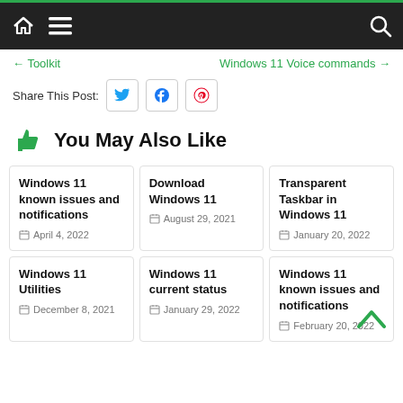Navigation bar with home, menu, and search icons
← Toolkit   Windows 11 Voice commands →
Share This Post: [Twitter] [Facebook] [Pinterest]
👍 You May Also Like
Windows 11 known issues and notifications — April 4, 2022
Download Windows 11 — August 29, 2021
Transparent Taskbar in Windows 11 — January 20, 2022
Windows 11 Utilities — December 8, 2021
Windows 11 current status — January 29, 2022
Windows 11 known issues and notifications — February 20, 2022